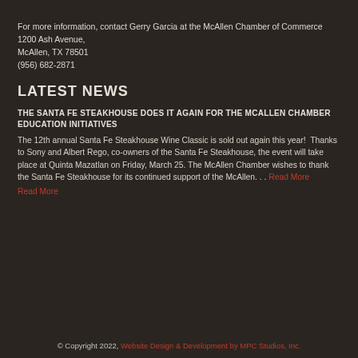For more information, contact Gerry Garcia at the McAllen Chamber of Commerce
1200 Ash Avenue,
McAllen, TX 78501
(956) 682-2871
LATEST NEWS
THE SANTA FE STEAKHOUSE DOES IT AGAIN FOR THE MCALLEN CHAMBER EDUCATION INITIATIVES
The 12th annual Santa Fe Steakhouse Wine Classic is sold out again this year!  Thanks to Sony and Albert Rego, co-owners of the Santa Fe Steakhouse, the event will take place at Quinta Mazatlan on Friday, March 25. The McAllen Chamber wishes to thank the Santa Fe Steakhouse for its continued support of the McAllen... Read More
© Copyright 2022, Website Design & Development by MPC Studios, Inc.